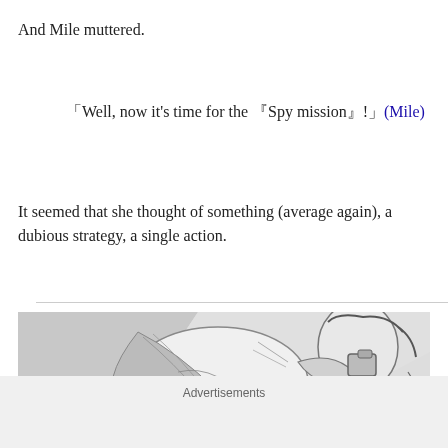And Mile muttered.
「Well, now it's time for the 『Spy mission』!」(Mile)
It seemed that she thought of something (average again), a dubious strategy, a single action.
[Figure (illustration): Black and white manga illustration showing a character in action pose]
Advertisements